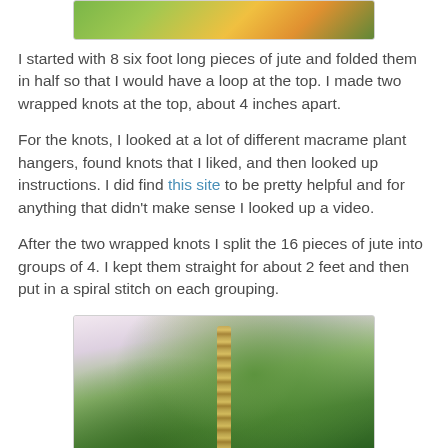[Figure (photo): Top portion of a plant/floral photo, partially cropped at top of page]
I started with 8 six foot long pieces of jute and folded them in half so that I would have a loop at the top. I made two wrapped knots at the top, about 4 inches apart.
For the knots, I looked at a lot of different macrame plant hangers, found knots that I liked, and then looked up instructions. I did find this site to be pretty helpful and for anything that didn't make sense I looked up a video.
After the two wrapped knots I split the 16 pieces of jute into groups of 4. I kept them straight for about 2 feet and then put in a spiral stitch on each grouping.
[Figure (photo): Photo of a macrame plant hanger with jute rope and green tropical plant leaves in background]